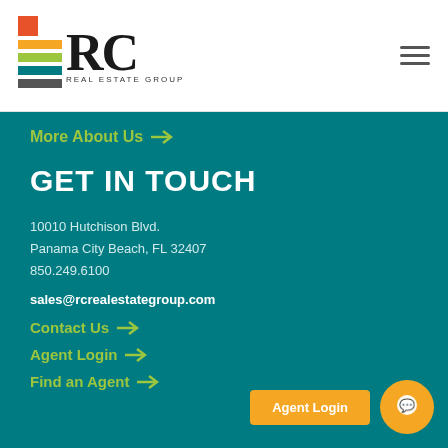RC Real Estate Group logo and navigation
More About Us →
GET IN TOUCH
10010 Hutchison Blvd.
Panama City Beach, FL 32407
850.249.6100
sales@rcrealestategroup.com
Contact Us →
Agent Login →
Find an Agent →